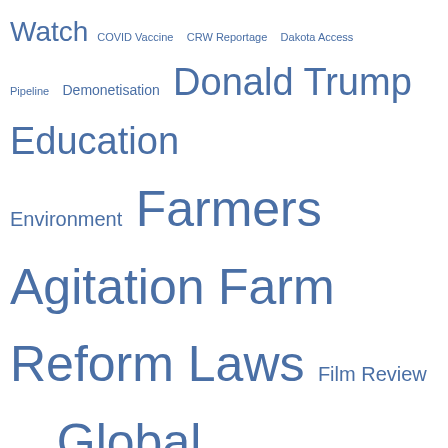[Figure (infographic): Tag cloud with words of varying sizes in blue color representing topics: Watch, COVID Vaccine, CRW Reportage, Dakota Access Pipeline, Demonetisation, Donald Trump, Education, Environment, Farmers Agitation, Farm Reform Laws, Film Review, Gaza, Global Warming, Health, Hindutva, Human Rights, Iran, Israel, Julian Assange, Kashmir, Life, Nuclear War, Palestine, Poetry, RSS, Sri Lanka, Standing Rock Sioux Protest, Syria, The Commons, Ukraine, US Election 2020, US Elections 2016, Venezuela, Yemen]